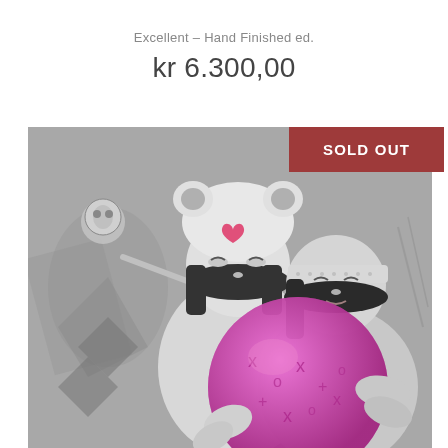Excellent – Hand Finished ed.
kr 6.300,00
[Figure (photo): Artwork photograph showing two female figures in grayscale with pink/magenta accent colors. One figure wears a panda hat with a pink heart, the other wears a bandana. They are hugging a large pink globe with markings. Background has grayscale graffiti-style patterns. A 'SOLD OUT' badge appears in the upper right corner on a dark red/burgundy background.]